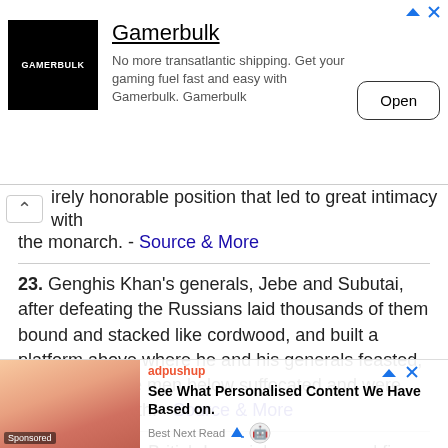[Figure (other): Advertisement banner for Gamerbulk with logo, tagline, and Open button]
irely honorable position that led to great intimacy with the monarch. - Source & More
23. Genghis Khan's generals, Jebe and Subutai, after defeating the Russians laid thousands of them bound and stacked like cordwood, and built a platform above where he and his generals feasted, all the while the men below suffocated and were crushed to death. - Source & More
24. In 1919, the British Imperial army opened fire, without warning, on a peaceful gathering in park named Jallianwala Bagh in Amritsar, India. There were about 10,000 gathered there t...
[Figure (other): adpushup advertisement overlay: See What Personalised Content We Have Based on... Best Next Read]